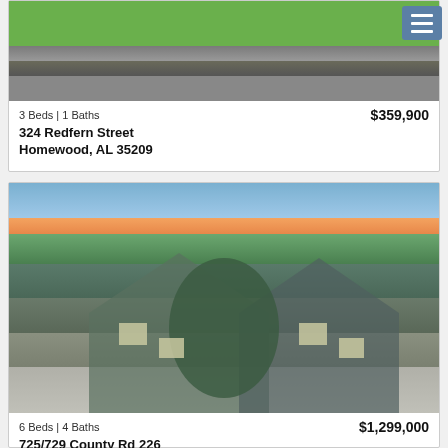[Figure (photo): Partial view of a property exterior with green lawn and a wooden deck/raised garden bed with gravel driveway]
3 Beds | 1 Baths
$359,900
324 Redfern Street
Homewood, AL 35209
[Figure (photo): Exterior photo of a large two-gabled gray house at dusk with pink and blue sky, weeping willow tree in front, gravel driveway]
6 Beds | 4 Baths
$1,299,000
725/729 County Rd 226